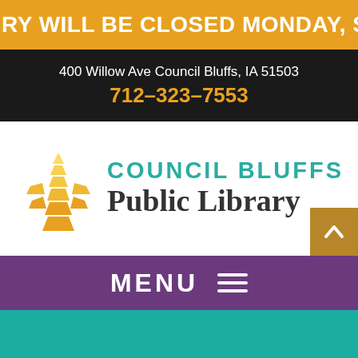RY WILL BE CLOSED MONDAY, SEPTEMBER 5 IN OBSERVANC
400 Willow Ave Council Bluffs, IA 51503
712-323-7553
[Figure (logo): Council Bluffs Public Library logo with gold leaf/wheat icon and teal 'COUNCIL BLUFFS Public Library' text]
MENU
[Figure (illustration): Teal background with partial white book outline shape at bottom]